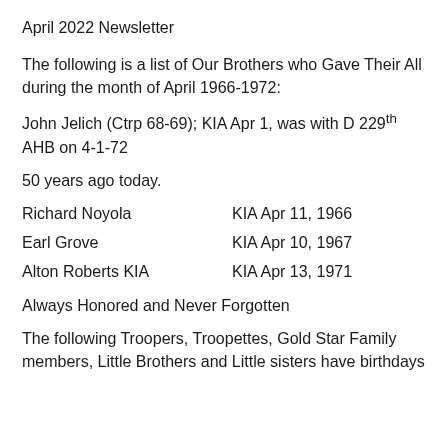April 2022 Newsletter
The following is a list of Our Brothers who Gave Their All during the month of April 1966-1972:
John Jelich (Ctrp 68-69); KIA Apr 1, was with D 229th AHB on 4-1-72
50 years ago today.
Richard Noyola    KIA Apr 11, 1966
Earl Grove    KIA Apr 10, 1967
Alton Roberts KIA    KIA Apr 13, 1971
Always Honored and Never Forgotten
The following Troopers, Troopettes, Gold Star Family members, Little Brothers and Little sisters have birthdays